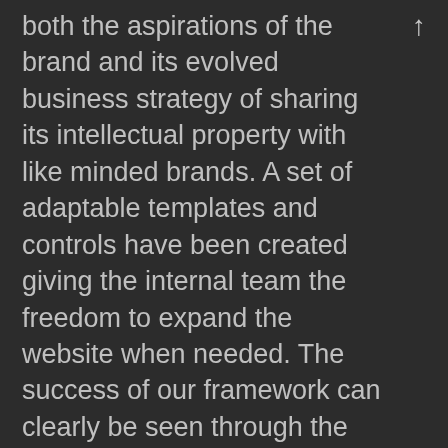both the aspirations of the brand and its evolved business strategy of sharing its intellectual property with like minded brands. A set of adaptable templates and controls have been created giving the internal team the freedom to expand the website when needed. The success of our framework can clearly be seen through the new client generated page for the ‘Halo’ DSP8000 XE Loudspeaker, which was launched 10 days after the new site went live.